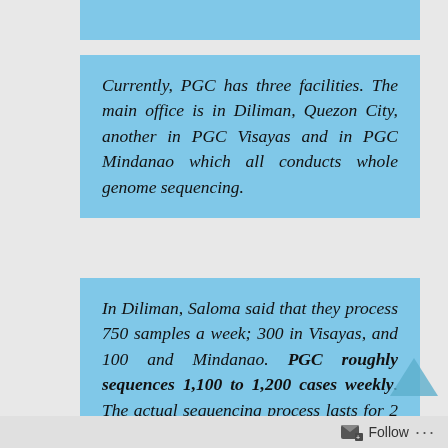Currently, PGC has three facilities. The main office is in Diliman, Quezon City, another in PGC Visayas and in PGC Mindanao which all conducts whole genome sequencing.
In Diliman, Saloma said that they process 750 samples a week; 300 in Visayas, and 100 and Mindanao. PGC roughly sequences 1,100 to 1,200 cases weekly. The actual sequencing process lasts for 2 to 3 days. But according to her, from getting the
Follow